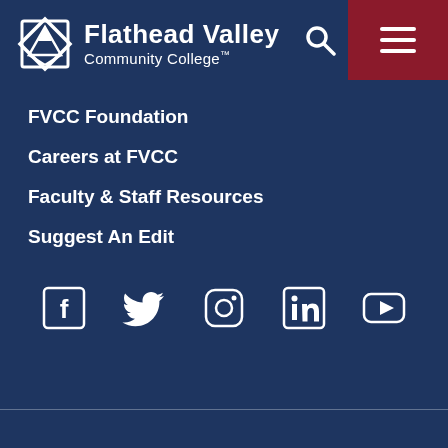[Figure (logo): Flathead Valley Community College logo with diamond/mountain icon and white text]
FVCC Foundation
Careers at FVCC
Faculty & Staff Resources
Suggest An Edit
[Figure (infographic): Social media icons row: Facebook, Twitter, Instagram, LinkedIn, YouTube]